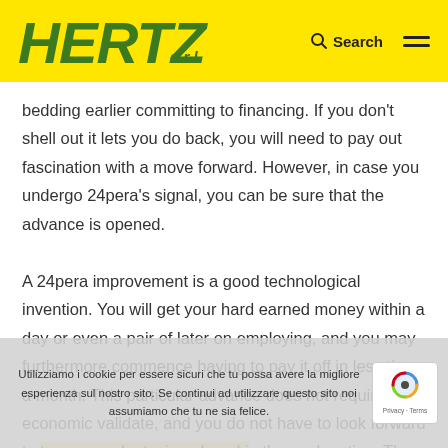[Figure (logo): Hertz s.r.l. logo in green italic bold font on yellow background]
Search  ☰
bedding earlier committing to financing. If you don't shell out it lets you do back, you will need to pay out fascination with a move forward. However, in case you undergo 24pera's signal, you can be sure that the advance is opened.
A 24pera improvement is a good technological invention. You will get your hard earned money within a day or even a pair of later on employing, and you may furthermore commence having to pay it off in less than a month. This particular advance does not require the economic validate, and you do not have to look forward to your cash staying placed in the explanation. The costs are usually less than other
Utilizziamo i cookie per essere sicuri che tu possa avere la migliore esperienza sul nostro sito. Se continui ad utilizzare questo sito noi assumiamo che tu ne sia felice.